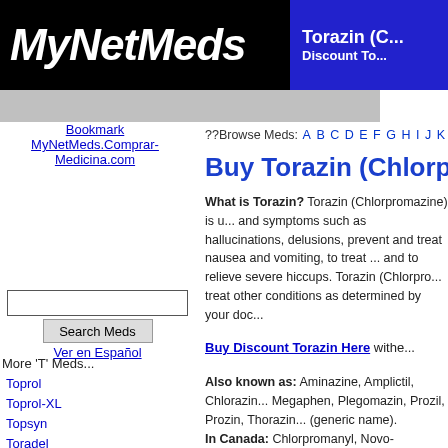MyNetMeds | Torazin (Chlorpromazine) | Discount To...
??Browse Meds: A B C D E F G H I J K L M N O ...
Buy Torazin (Chlorproma...
What is Torazin? Torazin (Chlorpromazine) is used to treat signs and symptoms such as hallucinations, delusions, to prevent and treat nausea and vomiting, to treat hiccups, and to relieve severe hiccups. Torazin (Chlorpro... treat other conditions as determined by your doc...
Buy Discount Torazin Here withe...
Also known as: Aminazine, Amplictil, Chlorazin... Megaphen, Plegomazin, Prozil, Prozin, Thorazin... (generic name). In Canada: Chlorpromanyl, Novo-Chlorpromazi... In Mexico: Clorpromazina, Torazina.
Bookmark MyNetMeds.Comprar-Medicina.com
Toprol
Toprol-XL
Topsyn
Toradel
Toradol
Toraseptol
Torazin
Torazina
Toremifene
Toremifeno
Torental